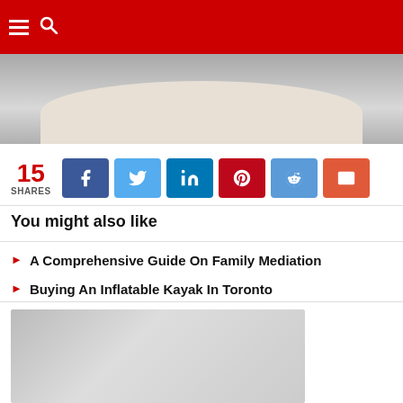[Figure (photo): Close-up photo of a smiling man, cropped showing lower face]
15 SHARES
[Figure (infographic): Social share buttons: Facebook, Twitter, LinkedIn, Pinterest, Reddit, Email]
You might also like
A Comprehensive Guide On Family Mediation
Buying An Inflatable Kayak In Toronto
It's all about the hot dog!
[Figure (photo): Photo of an older man with gray hair, gray background]